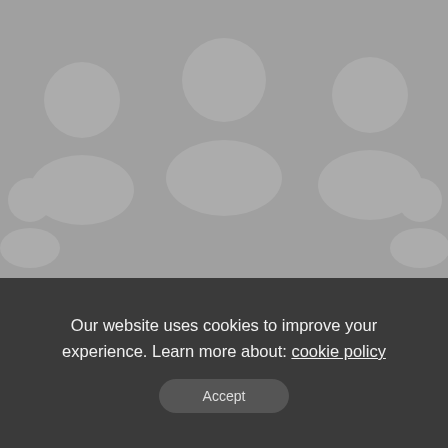[Figure (screenshot): Gray background with faded watermark icons of people/avatars]
Search for
1. BEST HIGH RETURN INVESTMENTS →
2. WATER DAMAGED WALL REPAIR →
MASTER'S DEGREE IN (partial)
Our website uses cookies to improve your experience. Learn more about: cookie policy
Accept